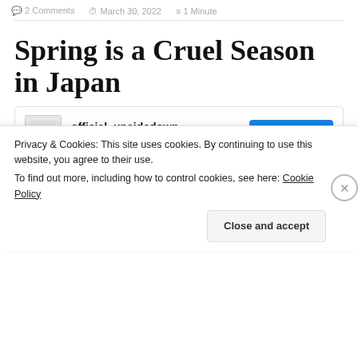2 Comments   March 30, 2022   1 Minute
Spring is a Cruel Season in Japan
official_upsidedown
□□□□□□
[Figure (photo): Cherry blossom tree with pink flowers against a blue sky]
Privacy & Cookies: This site uses cookies. By continuing to use this website, you agree to their use.
To find out more, including how to control cookies, see here: Cookie Policy
Close and accept